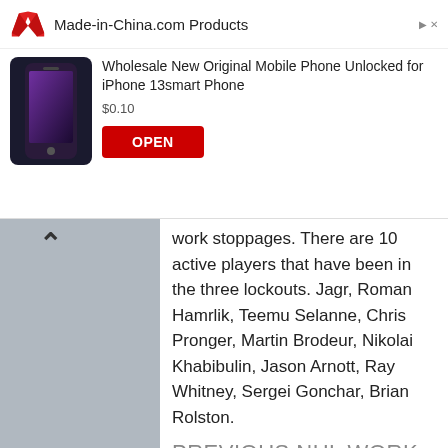[Figure (screenshot): Advertisement banner for Made-in-China.com showing a mobile phone product listing with OPEN button]
work stoppages. There are 10 active players that have been in the three lockouts. Jagr, Roman Hamrlik, Teemu Selanne, Chris Pronger, Martin Brodeur, Nikolai Khabibulin, Jason Arnott, Ray Whitney, Sergei Gonchar, Brian Rolston.
PREVIOUS NHL WORK STOPPAGES
| Year | Length |
| --- | --- |
| 1991-92 Strike | No games lost (April 1-11) |
| 1994-95 Lockout | 48-game season (Training camp, lockout began Oct. 1 – start of reg season) Oct. 1-Jan. 11 |